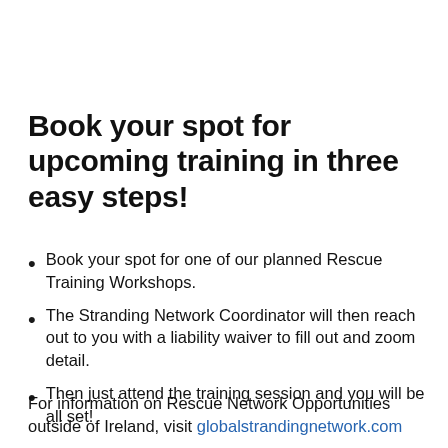Book your spot for upcoming training in three easy steps!
Book your spot for one of our planned Rescue Training Workshops.
The Stranding Network Coordinator will then reach out to you with a liability waiver to fill out and zoom detail.
Then just attend the training session and you will be all set!
For information on Rescue Network Opportunities outside of Ireland, visit globalstrandingnetwork.com